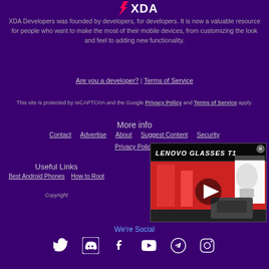[Figure (logo): XDA Developers logo with lightning bolt icon]
XDA Developers was founded by developers, for developers. It is now a valuable resource for people who want to make the most of their mobile devices, from customizing the look and feel to adding new functionality.
Are you a developer? | Terms of Service
This site is protected by reCAPTCHA and the Google Privacy Policy and Terms of Service apply.
More info
Contact | Advertise | About | Suggest Content | Security
Privacy Policy
[Figure (screenshot): Lenovo Glasses T1 video overlay with play button]
Useful Links
Best Android Phones | How to Root
Copyright
We're Social
[Figure (illustration): Social media icons: Twitter, Discord, Facebook, YouTube, Telegram, Instagram]